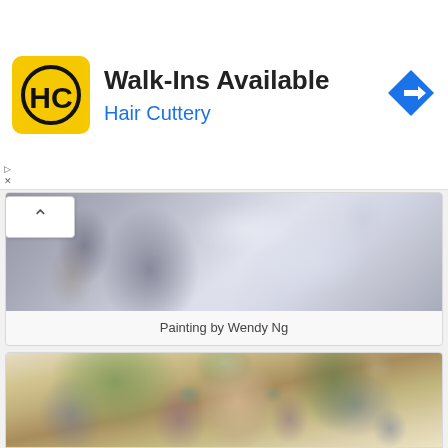[Figure (illustration): Hair Cuttery advertisement banner with yellow HC logo, 'Walk-Ins Available' heading, 'Hair Cuttery' subtitle in blue, and a blue navigation arrow icon on the right.]
Walk-Ins Available
Hair Cuttery
[Figure (photo): Partial view of a pencil or charcoal sketch painting showing a figure with light rays or fabric, by Wendy Ng.]
Painting by Wendy Ng
[Figure (photo): Colorful painting of a woman's face surrounded by autumn leaves in yellows, greens, and purples, with blue eyes.]